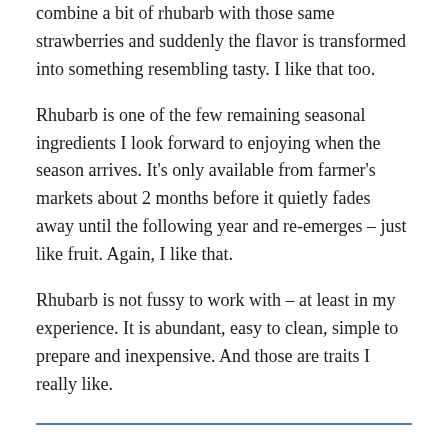combine a bit of rhubarb with those same strawberries and suddenly the flavor is transformed into something resembling tasty. I like that too.
Rhubarb is one of the few remaining seasonal ingredients I look forward to enjoying when the season arrives. It's only available from farmer's markets about 2 months before it quietly fades away until the following year and re-emerges – just like fruit. Again, I like that.
Rhubarb is not fussy to work with – at least in my experience. It is abundant, easy to clean, simple to prepare and inexpensive. And those are traits I really like.
Here are some of my helpful shopping, preparation and cooking tips if you are unfamiliar with rhubarb…